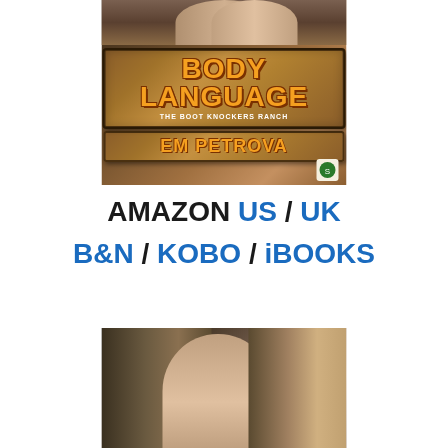[Figure (illustration): Book cover for 'Body Language' by Em Petrova, part of The Boot Knockers Ranch series. Features a rustic wooden sign design with orange/gold title text on a wood-grain background with metal corner accents, and people in background at top.]
AMAZON US / UK
B&N / KOBO / iBOOKS
[Figure (photo): Photo of three people in an intimate pose - a bald man on left, a dark-haired woman in center, and a blonde woman on right, all with eyes closed or looking down, dark/moody lighting.]